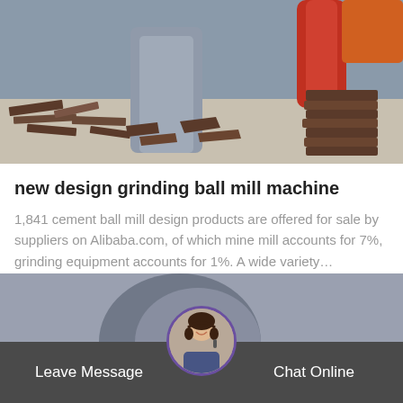[Figure (photo): Industrial grinding ball mill machine parts and metal plates scattered on a factory floor, with large red and grey machinery in the background.]
new design grinding ball mill machine
1,841 cement ball mill design products are offered for sale by suppliers on Alibaba.com, of which mine mill accounts for 7%, grinding equipment accounts for 1%. A wide variety…
Chat Online
[Figure (photo): Partial background image of industrial equipment visible at the bottom of the page.]
Leave Message
Chat Online